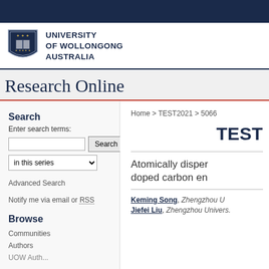[Figure (logo): University of Wollongong Australia shield logo with text]
Research Online
Search
Enter search terms:
Advanced Search
Notify me via email or RSS
Browse
Communities
Authors
Home > TEST2021 > 5066
TEST
Atomically disper doped carbon en
Keming Song, Zhengzhou U
Jiefei Liu, Zhengzhou Univers.